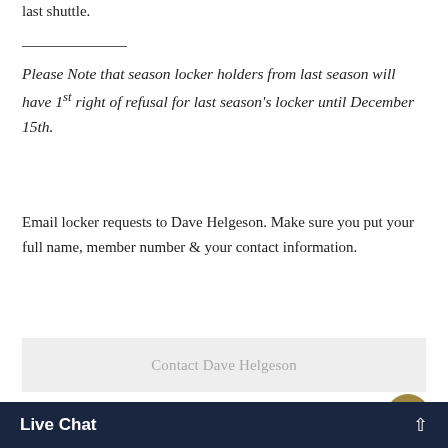last shuttle.
Please Note that season locker holders from last season will have 1st right of refusal for last season's locker until December 15th.
Email locker requests to Dave Helgeson. Make sure you put your full name, member number & your contact information.
Contact Dave Helgeson
Dave Helgeson will be available at our Annual Kick Off The Ski Season Party on November 14th for locker sign questions.
Live Chat